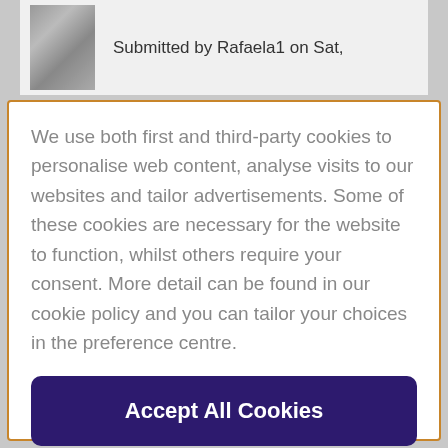Submitted by Rafaela1 on Sat,
We use both first and third-party cookies to personalise web content, analyse visits to our websites and tailor advertisements. Some of these cookies are necessary for the website to function, whilst others require your consent. More detail can be found in our cookie policy and you can tailor your choices in the preference centre.
Accept All Cookies
Cookies Settings